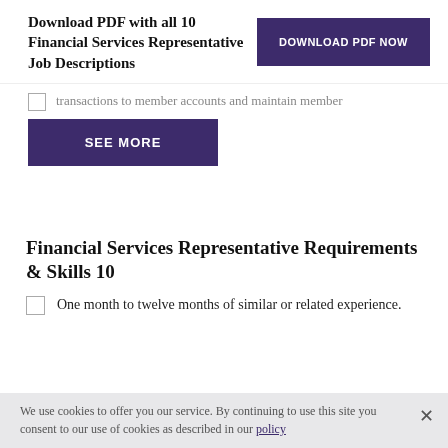[Figure (screenshot): Purple 'DOWNLOAD PDF NOW' button beside text 'Download PDF with all 10 Financial Services Representative Job Descriptions']
transactions to member accounts and maintain member
[Figure (screenshot): Purple 'SEE MORE' button]
Financial Services Representative Requirements & Skills 10
One month to twelve months of similar or related experience.
We use cookies to offer you our service. By continuing to use this site you consent to our use of cookies as described in our policy